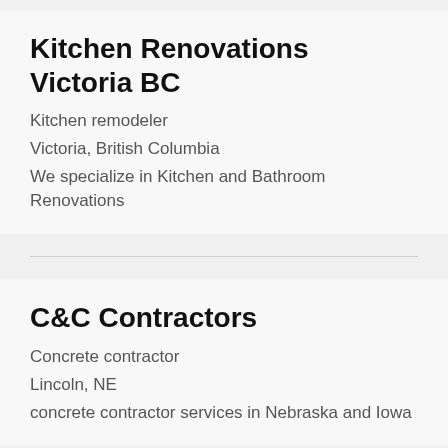Kitchen Renovations Victoria BC
Kitchen remodeler
Victoria, British Columbia
We specialize in Kitchen and Bathroom Renovations
C&C Contractors
Concrete contractor
Lincoln, NE
concrete contractor services in Nebraska and Iowa